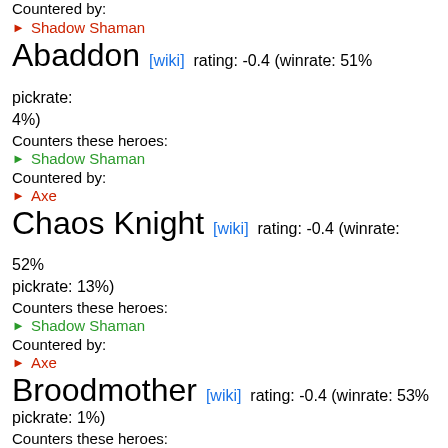Countered by:
▶ Shadow Shaman
Abaddon [wiki] rating: -0.4 (winrate: 51% pickrate: 4%)
Counters these heroes:
▶ Shadow Shaman
Countered by:
▶ Axe
Chaos Knight [wiki] rating: -0.4 (winrate: 52% pickrate: 13%)
Counters these heroes:
▶ Shadow Shaman
Countered by:
▶ Axe
Broodmother [wiki] rating: -0.4 (winrate: 53% pickrate: 1%)
Counters these heroes:
▶ Shadow Shaman